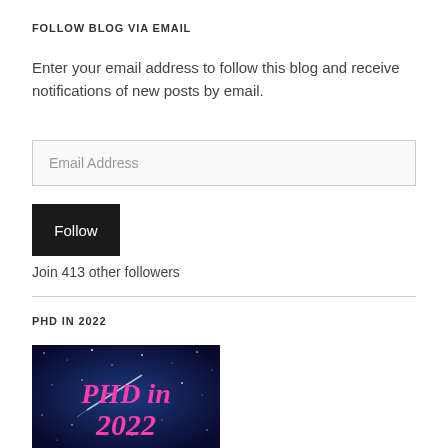FOLLOW BLOG VIA EMAIL
Enter your email address to follow this blog and receive notifications of new posts by email.
[Figure (other): Email address input field with placeholder text 'Email Address']
[Figure (other): Black Follow button]
Join 413 other followers
PHD IN 2022
[Figure (illustration): Blue starry background image with pink bold italic text reading 'PHD in 2022']